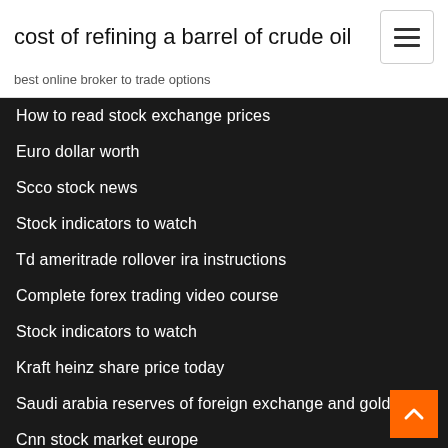cost of refining a barrel of crude oil
best online broker to trade options
How to read stock exchange prices
Euro dollar worth
Scco stock news
Stock indicators to watch
Td ameritrade rollover ira instructions
Complete forex trading video course
Stock indicators to watch
Kraft heinz share price today
Saudi arabia reserves of foreign exchange and gold
Cnn stock market europe